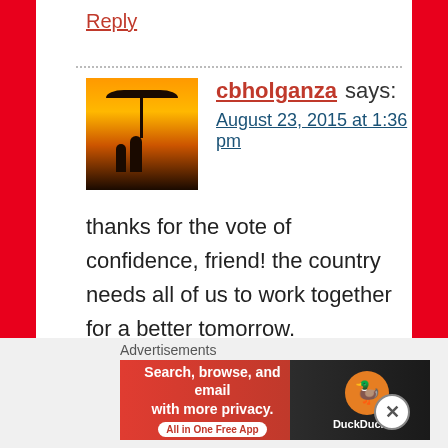Reply
[Figure (photo): Avatar photo of cbholganza: silhouette of two people under an umbrella at sunset]
cbholganza says:
August 23, 2015 at 1:36 pm
thanks for the vote of confidence, friend! the country needs all of us to work together for a better tomorrow.
Like
Reply
Advertisements
[Figure (screenshot): DuckDuckGo advertisement banner: Search, browse, and email with more privacy. All in One Free App. DuckDuckGo logo on right side.]